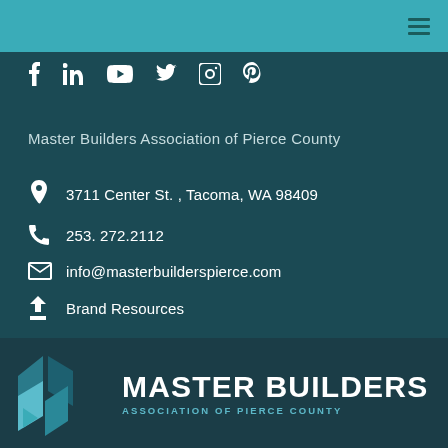[Figure (logo): Teal top navigation bar with hamburger menu icon]
[Figure (infographic): Social media icons: Facebook, LinkedIn, YouTube, Twitter, Instagram, Pinterest]
Master Builders Association of Pierce County
3711 Center St. , Tacoma, WA 98409
253. 272.2112
info@masterbuilderspierce.com
Brand Resources
[Figure (logo): Master Builders Association of Pierce County logo with geometric M icon and bold white text]